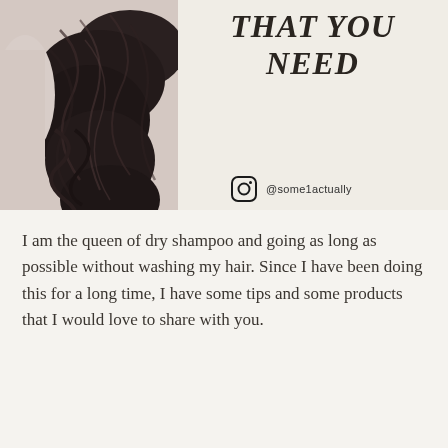[Figure (photo): Close-up photo of dark braided/wavy hair on a light background, occupying the left portion of the top section]
THAT YOU NEED
@some1actually
I am the queen of dry shampoo and going as long as possible without washing my hair. Since I have been doing this for a long time, I have some tips and some products that I would love to share with you.